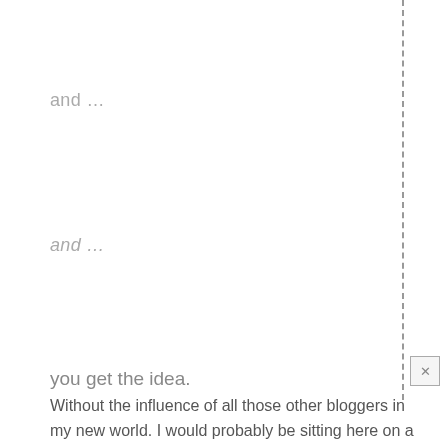and …
and …
you get the idea.
Without the influence of all those other bloggers in my new world. I would probably be sitting here on a red couch looking at my red painted wall surrounded by red and green and purple jewel-